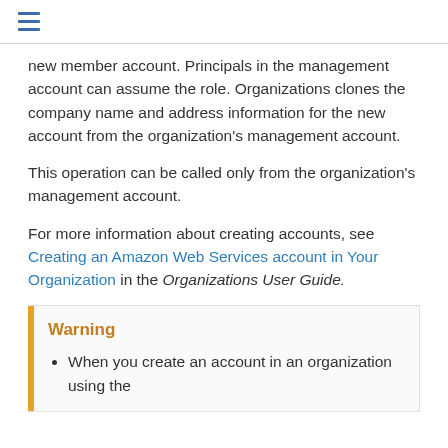new member account. Principals in the management account can assume the role. Organizations clones the company name and address information for the new account from the organization's management account.
This operation can be called only from the organization's management account.
For more information about creating accounts, see Creating an Amazon Web Services account in Your Organization in the Organizations User Guide.
Warning
When you create an account in an organization using the